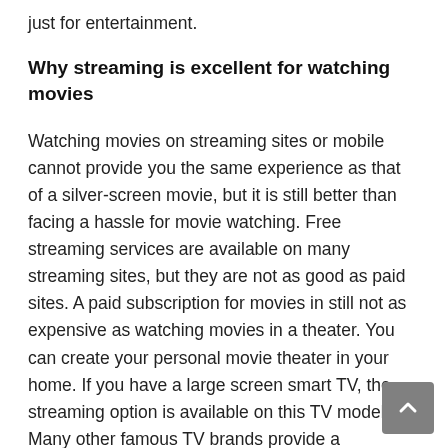just for entertainment.
Why streaming is excellent for watching movies
Watching movies on streaming sites or mobile cannot provide you the same experience as that of a silver-screen movie, but it is still better than facing a hassle for movie watching. Free streaming services are available on many streaming sites, but they are not as good as paid sites. A paid subscription for movies in still not as expensive as watching movies in a theater. You can create your personal movie theater in your home. If you have a large screen smart TV, the streaming option is available on this TV model. Many other famous TV brands provide a